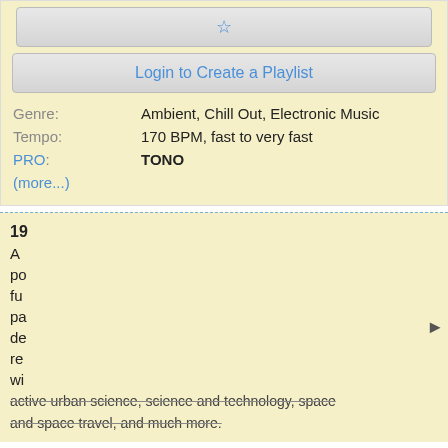☆ (star button)
Login to Create a Playlist
Genre: Ambient, Chill Out, Electronic Music
Tempo: 170 BPM, fast to very fast
PRO: TONO
(more...)
19...
A ... po ... fu ... pa ... de ... re ... wi ... active urban science, science and technology, space and space travel, and much more.
Privacy settings
In order to optimize our website for you and to be able to continuously improve it, we use cookies. By continuing to use the website, you agree to the use of cookies. Privacy policy
Settings | Save | Accept all